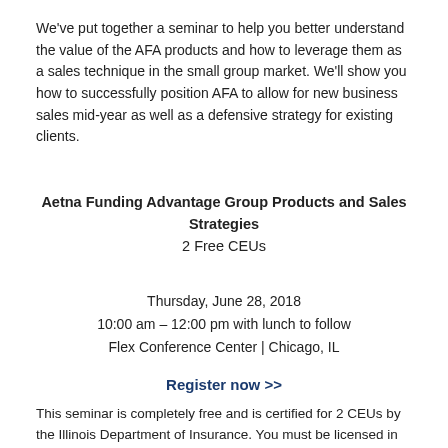We've put together a seminar to help you better understand the value of the AFA products and how to leverage them as a sales technique in the small group market. We'll show you how to successfully position AFA to allow for new business sales mid-year as well as a defensive strategy for existing clients.
Aetna Funding Advantage Group Products and Sales Strategies
2 Free CEUs
Thursday, June 28, 2018
10:00 am – 12:00 pm with lunch to follow
Flex Conference Center | Chicago, IL
Register now >>
This seminar is completely free and is certified for 2 CEUs by the Illinois Department of Insurance. You must be licensed in the state of Illinois to receive these credits.